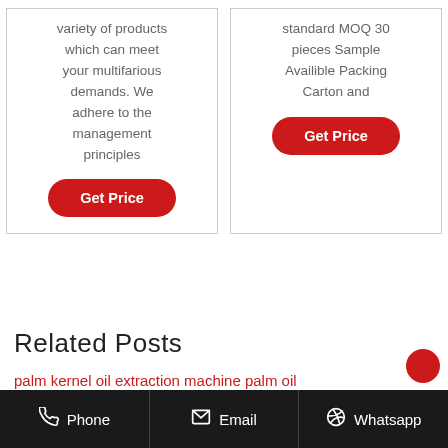variety of products which can meet your multifarious demands. We adhere to the management principles
[Figure (other): Red rounded 'Get Price' button (left card)]
standard MOQ 30 pieces Sample Availible Packing Carton and
[Figure (other): Red rounded 'Get Price' button (right card)]
Related Posts
palm kernel oil extraction machine palm oil screw press Nepal
Phone   Email   Whatsapp